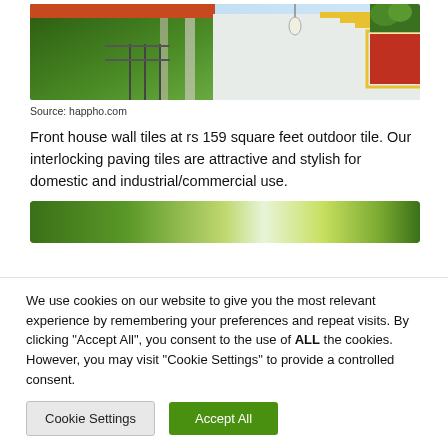[Figure (photo): Front view of a house with white walls, red door, yellow geometric trim, hanging light fixture, green plants and shrubs. Source: happho.com]
Source: happho.com
Front house wall tiles at rs 159 square feet outdoor tile. Our interlocking paving tiles are attractive and stylish for domestic and industrial/commercial use.
[Figure (photo): Green gradient banner image]
We use cookies on our website to give you the most relevant experience by remembering your preferences and repeat visits. By clicking “Accept All”, you consent to the use of ALL the cookies. However, you may visit “Cookie Settings” to provide a controlled consent.